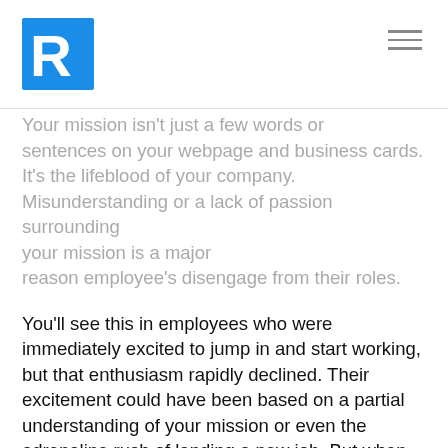R logo and navigation menu
Your mission isn't just a few words or sentences on your webpage and business cards. It's the lifeblood of your company. Misunderstanding or a lack of passion surrounding your mission is a major reason employee's disengage from their roles.
You'll see this in employees who were immediately excited to jump in and start working, but that enthusiasm rapidly declined. Their excitement could have been based on a partial understanding of your mission or even the adrenaline rush of landing a new job. But when the new and shiny feeling wears off, you're left with someone who isn't invested in the organization's growth.